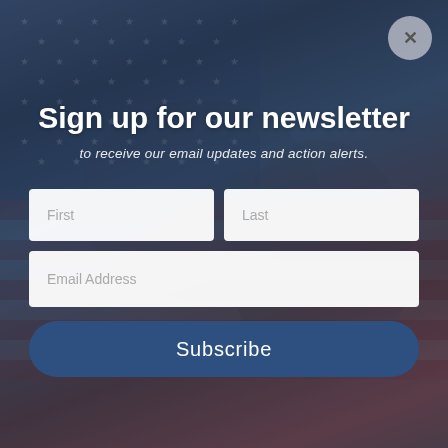[Figure (photo): Background photo of American flag with patriotic theme, blue and red tones with stars, overlaid with semi-transparent dark layer. A close button (×) appears in the top right corner.]
Sign up for our newsletter
to receive our email updates and action alerts.
First [input field]
Last [input field]
Email Address [input field]
Subscribe [button]